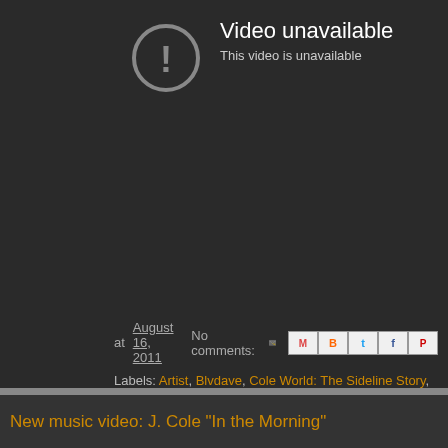[Figure (screenshot): YouTube video unavailable placeholder with grey circle exclamation icon on dark background]
at August 16, 2011   No comments:
Labels: Artist, Blvdave, Cole World: The Sideline Story, J.Cole, Mus... Media Group, Roc Nation
Wednesday, February 16, 2011
New music video: J. Cole "In the Morning"